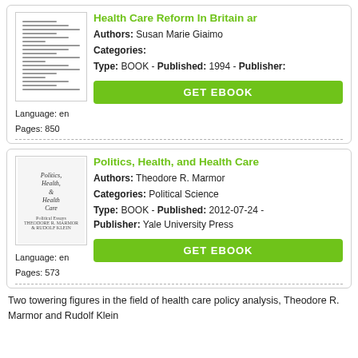[Figure (illustration): Book thumbnail for Health Care Reform in Britain, showing document-like lines]
Health Care Reform In Britain ar
Authors: Susan Marie Giaimo
Categories:
Language: en
Pages: 850
Type: BOOK - Published: 1994 - Publisher:
GET EBOOK
[Figure (illustration): Book cover for Politics, Health, and Health Care by Theodore R. Marmor and Rudolf Klein]
Politics, Health, and Health Care
Authors: Theodore R. Marmor
Categories: Political Science
Language: en
Pages: 573
Type: BOOK - Published: 2012-07-24 - Publisher: Yale University Press
GET EBOOK
Two towering figures in the field of health care policy analysis, Theodore R. Marmor and Rudolf Klein